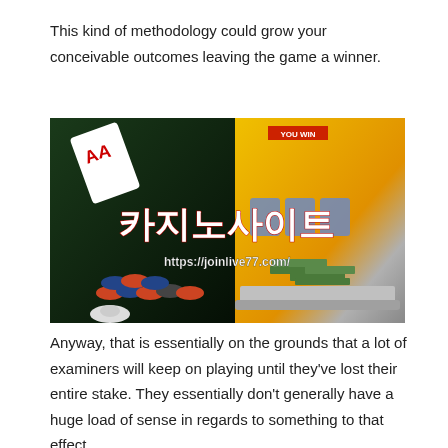This kind of methodology could grow your conceivable outcomes leaving the game a winner.
[Figure (photo): Casino-themed composite image showing poker cards, casino chips, a laptop with slot machine display showing 'YOU WIN', Korean text '카지노사이트' in white/red bold lettering, URL 'https://joinlive77.com/', and stacks of dollar bills.]
Anyway, that is essentially on the grounds that a lot of examiners will keep on playing until they've lost their entire stake. They essentially don't generally have a huge load of sense in regards to something to that effect.